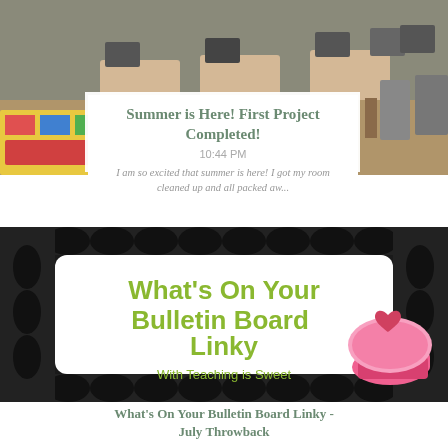[Figure (photo): Classroom photo showing desks, chairs, and a colorful rug on the floor, viewed from the front]
Summer is Here! First Project Completed!
10:44 PM
I am so excited that summer is here! I got my room cleaned up and all packed aw...
[Figure (illustration): Decorative banner reading 'What's On Your Bulletin Board Linky - With Teaching is Sweet' with black lace border and pink cupcake illustration]
What's On Your Bulletin Board Linky - July Throwback